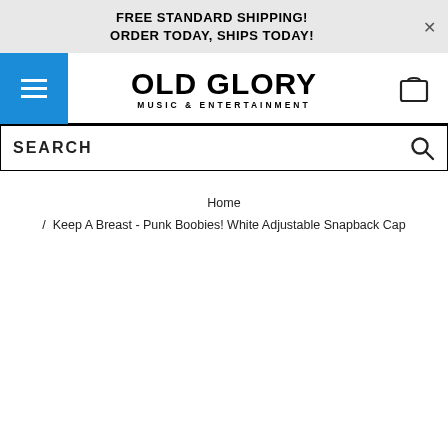FREE STANDARD SHIPPING! ORDER TODAY, SHIPS TODAY!
[Figure (logo): Old Glory Music & Entertainment logo with hamburger menu and shopping cart icon]
SEARCH
Home / Keep A Breast - Punk Boobies! White Adjustable Snapback Cap